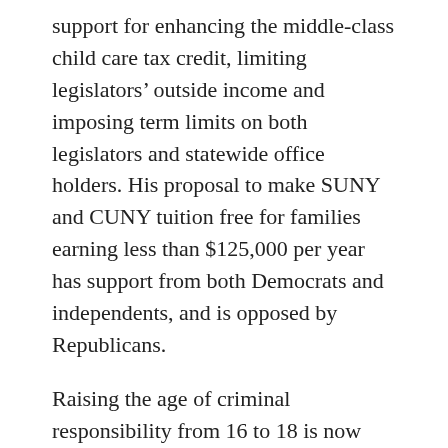support for enhancing the middle-class child care tax credit, limiting legislators' outside income and imposing term limits on both legislators and statewide office holders. His proposal to make SUNY and CUNY tuition free for families earning less than $125,000 per year has support from both Democrats and independents, and is opposed by Republicans.
Raising the age of criminal responsibility from 16 to 18 is now supported by a small majority of voters, with Democrats strongly supportive, independents closely divided and Republicans opposed. Similarly, the Dream Act enjoys overwhelming Democratic support, while independents narrowly oppose it and three-quarters of Republicans oppose it. However, Voters from every party and region are agreed in their opposition to the governor's